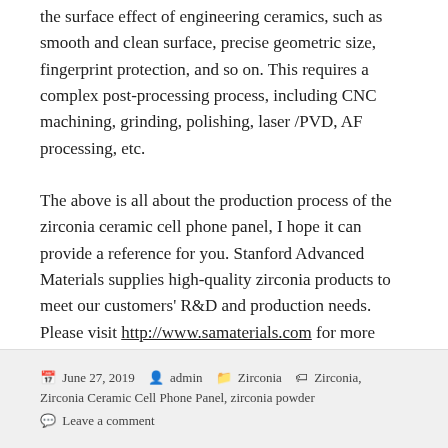the surface effect of engineering ceramics, such as smooth and clean surface, precise geometric size, fingerprint protection, and so on. This requires a complex post-processing process, including CNC machining, grinding, polishing, laser /PVD, AF processing, etc.
The above is all about the production process of the zirconia ceramic cell phone panel, I hope it can provide a reference for you. Stanford Advanced Materials supplies high-quality zirconia products to meet our customers' R&D and production needs. Please visit http://www.samaterials.com for more information.
June 27, 2019   admin   Zirconia   Zirconia, Zirconia Ceramic Cell Phone Panel, zirconia powder   Leave a comment